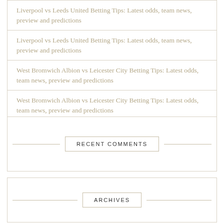Liverpool vs Leeds United Betting Tips: Latest odds, team news, preview and predictions
Liverpool vs Leeds United Betting Tips: Latest odds, team news, preview and predictions
West Bromwich Albion vs Leicester City Betting Tips: Latest odds, team news, preview and predictions
West Bromwich Albion vs Leicester City Betting Tips: Latest odds, team news, preview and predictions
RECENT COMMENTS
ARCHIVES